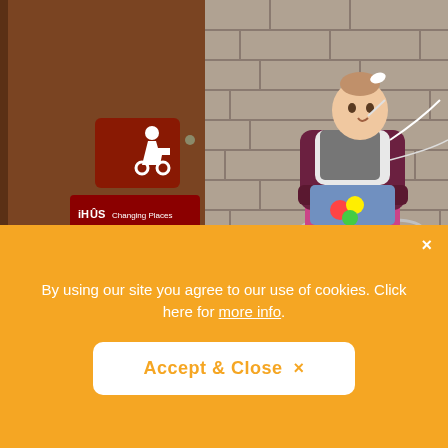[Figure (photo): A young girl in a wheelchair sits outside next to a brown door with an iHOS Changing Places sign and accessibility symbol. The girl has her hair up and is holding a colorful toy. Stone brick wall is visible in the background.]
By using our site you agree to our use of cookies. Click here for more info.
Accept & Close ×